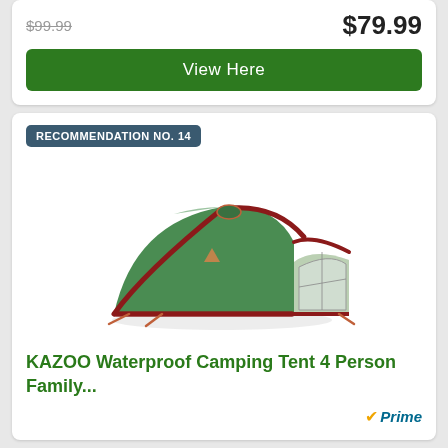$99.99 (strikethrough) $79.99
View Here
RECOMMENDATION NO. 14
[Figure (photo): Green dome camping tent with red accents (KAZOO brand), shown on white background]
KAZOO Waterproof Camping Tent 4 Person Family...
Prime